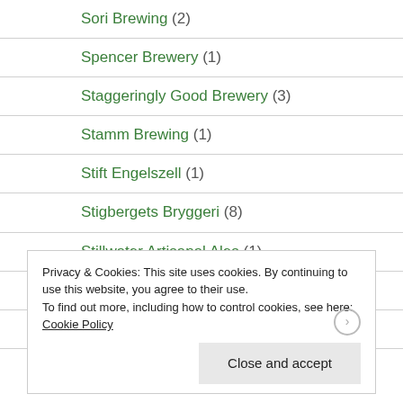Sori Brewing (2)
Spencer Brewery (1)
Staggeringly Good Brewery (3)
Stamm Brewing (1)
Stift Engelszell (1)
Stigbergets Bryggeri (8)
Stillwater Artisanal Ales (1)
Stone & Wood Brewing Company (2)
Stone Brewing Co. (33)
Privacy & Cookies: This site uses cookies. By continuing to use this website, you agree to their use.
To find out more, including how to control cookies, see here: Cookie Policy
Close and accept